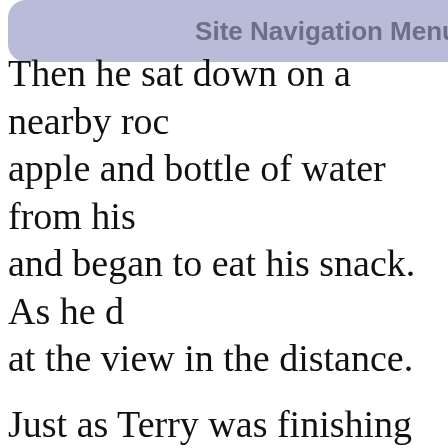Site Navigation Menu
Then he sat down on a nearby rock, apple and bottle of water from his and began to eat his snack. As he d at the view in the distance.
Just as Terry was finishing his app someone approaching. He turned young man in his early twenties.
Terry asked in a startled voice, "W